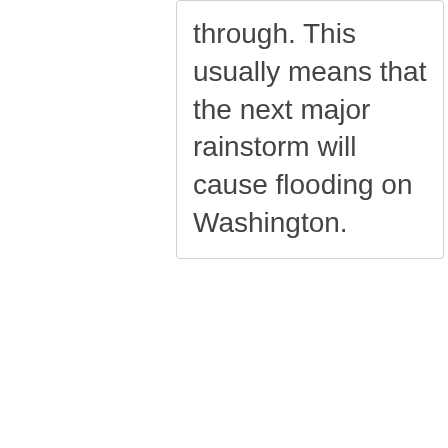through. This usually means that the next major rainstorm will cause flooding on Washington.
closed #167781 Drainage or Runoff 1107 W 6th ST Case Date: 3/14/2...